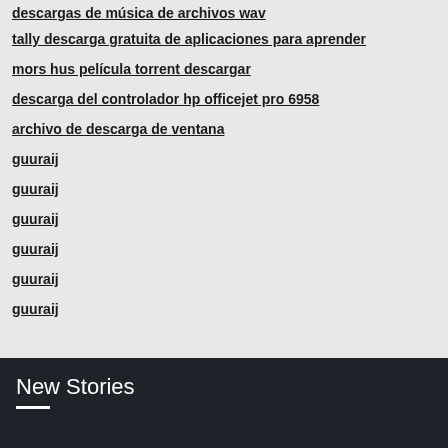descargas de música de archivos wav
tally descarga gratuita de aplicaciones para aprender
mors hus película torrent descargar
descarga del controlador hp officejet pro 6958
archivo de descarga de ventana
guuraij
guuraij
guuraij
guuraij
guuraij
guuraij
New Stories